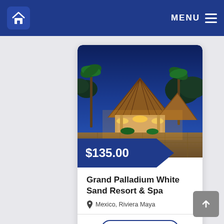Home | MENU
[Figure (photo): Grand Palladium White Sand Resort & Spa exterior at dusk — thatched roof pavilion with warm lighting, palm trees, and cobblestone courtyard under a blue evening sky]
$135.00
Grand Palladium White Sand Resort & Spa
Mexico, Riviera Maya
EXPLORE